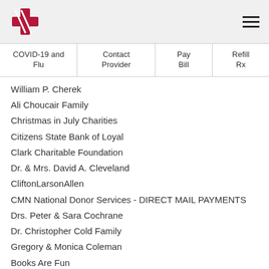[Hospital logo] [Hamburger menu]
COVID-19 and Flu | Contact Provider | Pay Bill | Refill Rx
William P. Cherek
Ali Choucair Family
Christmas in July Charities
Citizens State Bank of Loyal
Clark Charitable Foundation
Dr. & Mrs. David A. Cleveland
CliftonLarsonAllen
CMN National Donor Services - DIRECT MAIL PAYMENTS
Drs. Peter & Sara Cochrane
Dr. Christopher Cold Family
Gregory & Monica Coleman
Books Are Fun
Columbus Catholic Schools
Connexus Credit Union
Consolidated Papers Foundation, Inc.
Dr. James Conterato & Lynn Deuser